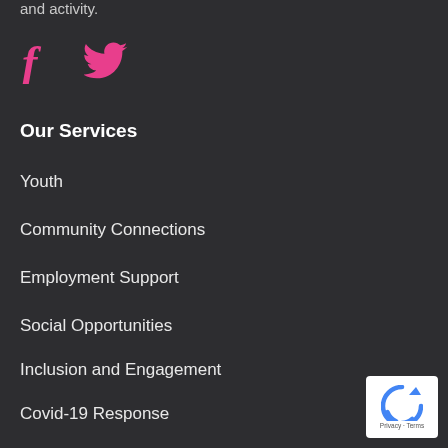and activity.
[Figure (illustration): Facebook and Twitter social media icons in pink/magenta color]
Our Services
Youth
Community Connections
Employment Support
Social Opportunities
Inclusion and Engagement
Covid-19 Response
[Figure (logo): reCAPTCHA badge with Privacy - Terms text]